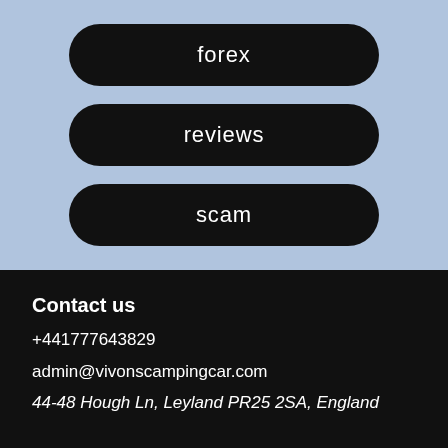forex
reviews
scam
Contact us
+441777643829
admin@vivonscampingcar.com
44-48 Hough Ln, Leyland PR25 2SA, England